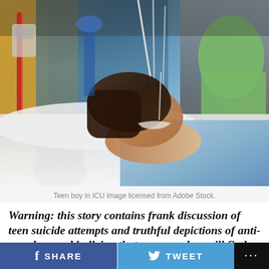[Figure (photo): Teen boy lying in ICU hospital bed with oxygen nasal cannula, eyes closed, dark hair, wearing light blue hospital gown, medical equipment visible in background including tubes and equipment, yellow wall on left, person in green shirt visible upper right]
Teen boy in ICU image licensed from Adobe Stock.
Warning: this story contains frank discussion of teen suicide attempts and truthful depictions of anti-gay slurs and bullying that some readers will find traumatizing.